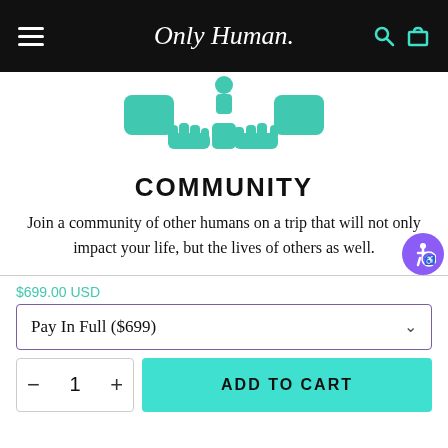Only Human — navigation bar with hamburger menu, logo, search and cart icons
[Figure (illustration): Teal/turquoise illustration of hands reaching toward each other on white background]
COMMUNITY
Join a community of other humans on a trip that will not only impact your life, but the lives of others as well.
$699.00 USD
Pay In Full ($699)
ADD TO CART